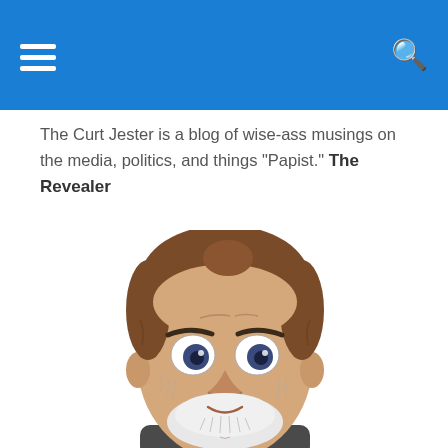The Curt Jester is a blog of wise-ass musings on the media, politics, and things "Papist." The Revealer
[Figure (illustration): Cartoon illustration of an older man with brown hair, thick eyebrows, wide blue eyes, a smile, and a white beard, wearing a dark shirt]